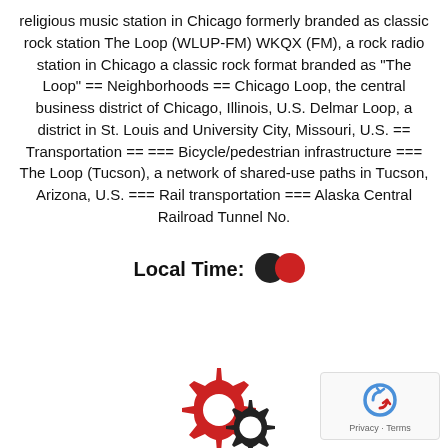religious music station in Chicago formerly branded as classic rock station The Loop (WLUP-FM) WKQX (FM), a rock radio station in Chicago a classic rock format branded as "The Loop" == Neighborhoods == Chicago Loop, the central business district of Chicago, Illinois, U.S. Delmar Loop, a district in St. Louis and University City, Missouri, U.S. == Transportation == === Bicycle/pedestrian infrastructure === The Loop (Tucson), a network of shared-use paths in Tucson, Arizona, U.S. === Rail transportation === Alaska Central Railroad Tunnel No.
Local Time:
[Figure (illustration): Two overlapping dots/circles (one dark/black, one red) next to the Local Time label]
[Figure (illustration): Two gear icons at the bottom center — a large red gear and a smaller dark/black gear overlapping]
[Figure (screenshot): Google reCAPTCHA widget box in the bottom right corner with the reCAPTCHA logo and Privacy - Terms text]